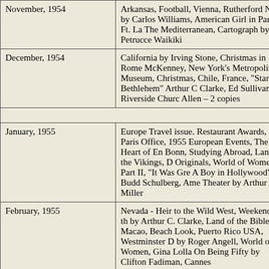| Date | Content |
| --- | --- |
| November, 1954 | Arkansas, Football, Vienna, Rutherford NJ by Carlos Williams, American Girl in Paris, Ft. La The Mediterranean, Cartograph by A. Petrucce Waikiki |
| December, 1954 | California by Irving Stone, Christmas in Rome McKenney, New York's Metropolitan Museum, Christmas, Chile, France, "Star of Bethlehem" Arthur C Clarke, Ed Sullivan, Riverside Churc Allen – 2 copies |
| January, 1955 | Europe Travel issue. Restaurant Awards, Paris Office, 1955 European Events, The Heart of En Bonn, Studying Abroad, Land of the Vikings, D Originals, World of Women Part II, "It Was Gre A Boy in Hollywood" by Budd Schulberg, Ame Theater by Arthur Miller |
| February, 1955 | Nevada - Heir to the Wild West, Weekend on th by Arthur C. Clarke, Land of the Bible, Macao, Beach Look, Puerto Rico USA, Westminster D by Roger Angell, World of Women, Gina Lolla On Being Fifty by Clifton Fadiman, Cannes |
| March, 1955 | Florida Baseball cover, Central America, "A B... |